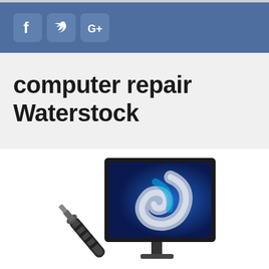[Figure (illustration): Social media icons for Facebook, Twitter, and Google+ displayed on a blue bar background]
computer repair Waterstock
[Figure (illustration): Computer monitor with a blue swirl graphic and a wrench/screwdriver tool in front, representing computer repair services]